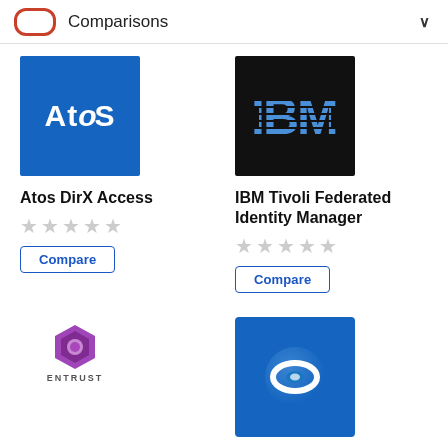Comparisons
[Figure (logo): Atos logo - blue square with white Atos text]
Atos DirX Access
[Figure (logo): IBM logo - black square with blue IBM text]
IBM Tivoli Federated Identity Manager
[Figure (logo): Entrust logo - purple hexagonal gem icon with ENTRUST text]
Entrust GetAccess
[Figure (logo): Evidian logo - blue square with white oval/ring icon]
Evidian Web Access Manager